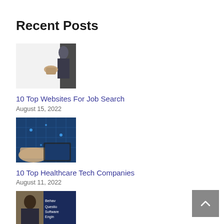Recent Posts
[Figure (photo): Person in business attire, partial view, white background]
10 Top Websites For Job Search
August 15, 2022
[Figure (photo): Healthcare technology concept with digital interface and hands]
10 Top Healthcare Tech Companies
August 11, 2022
[Figure (photo): Person with dark background overlay text: Behavioral Questions Software Engineer]
7 Best Software Engineer Behavioral Interview Questions With Answers
July 25, 2022
[Figure (photo): Open book or document on wooden surface, partial view]